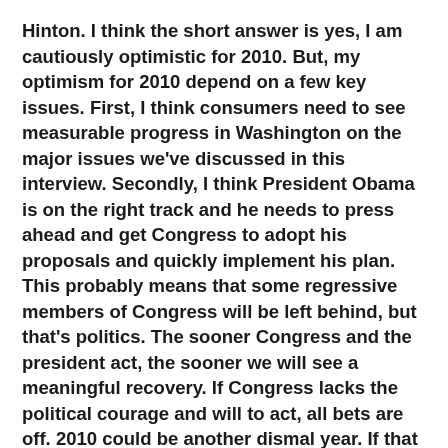Hinton. I think the short answer is yes, I am cautiously optimistic for 2010. But, my optimism for 2010 depend on a few key issues. First, I think consumers need to see measurable progress in Washington on the major issues we've discussed in this interview. Secondly, I think President Obama is on the right track and he needs to press ahead and get Congress to adopt his proposals and quickly implement his plan. This probably means that some regressive members of Congress will be left behind, but that's politics. The sooner Congress and the president act, the sooner we will see a meaningful recovery. If Congress lacks the political courage and will to act, all bets are off. 2010 could be another dismal year. If that happens, I'm concerned that China will pull ahead of the United States and become the dominant economic force for the next 20 years because they have the resources and economic capacity to beat us. So, the political and economic stakes are very high.
In terms of consumer confidence, it's beginning to inch upwards because -- despite the naysayers and political